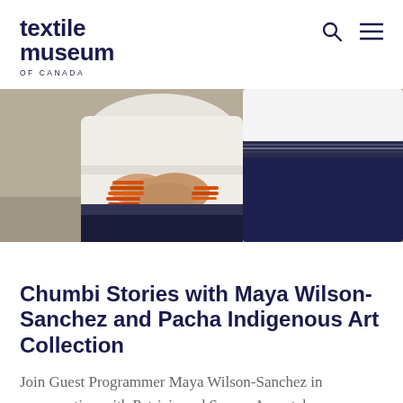textile museum OF CANADA
[Figure (photo): Close-up photograph of two people wearing traditional clothing. The person on the left wears a white blouse and has orange beaded bracelets on their wrists, with hands clasped together. The person on the right wears a dark navy skirt and a striped garment. The background is a neutral tan color.]
Chumbi Stories with Maya Wilson-Sanchez and Pacha Indigenous Art Collection
Join Guest Programmer Maya Wilson-Sanchez in conversation with Patricia and Samay Arcentales